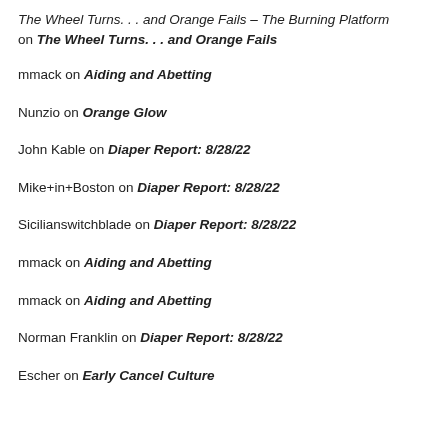The Wheel Turns. . . and Orange Fails – The Burning Platform on The Wheel Turns. . . and Orange Fails
mmack on Aiding and Abetting
Nunzio on Orange Glow
John Kable on Diaper Report: 8/28/22
Mike+in+Boston on Diaper Report: 8/28/22
Sicilianswitchblade on Diaper Report: 8/28/22
mmack on Aiding and Abetting
mmack on Aiding and Abetting
Norman Franklin on Diaper Report: 8/28/22
Escher on Early Cancel Culture